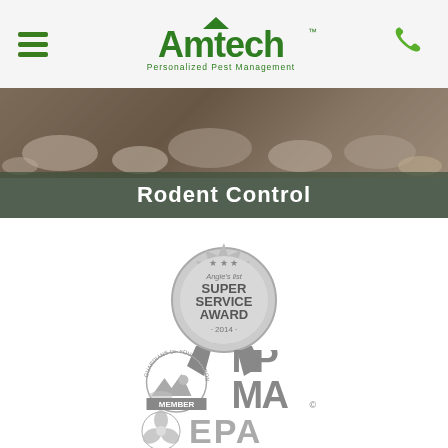Amtech - Personalized Pest Management
Rodent Control
[Figure (logo): Angie's List Super Service Award 2014 badge - silver medal/ribbon award logo]
[Figure (logo): NPMA Member logo - Guardians of Your Environment, National Pest Management Association member badge]
[Figure (logo): EPA logo - US Environmental Protection Agency logo mark (partial, bottom of page)]